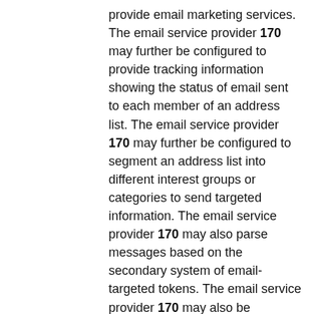provide email marketing services. The email service provider 170 may further be configured to provide tracking information showing the status of email sent to each member of an address list. The email service provider 170 may further be configured to segment an address list into different interest groups or categories to send targeted information. The email service provider 170 may also parse messages based on the secondary system of email-targeted tokens. The email service provider 170 may also be configured to send trigger emails based on responses from the vendor system 120 or customer behavior. The email service provider 170 may further be configured to create or use templates generated by the e-commerce system 140. The templates may be used for sending information to contacts. Email service provider 170 may include a customer interface that allows a customer to adjust the template or it may be integrated with external sources (e.g. vendor system 120 or e-commerce system 140). The email service